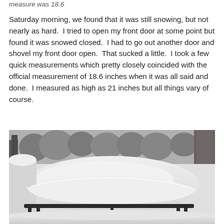measure was 18.6
Saturday morning, we found that it was still snowing, but not nearly as hard.  I tried to open my front door at some point but found it was snowed closed.  I had to go out another door and shovel my front door open.  That sucked a little.  I took a few quick measurements which pretty closely coincided with the official measurement of 18.6 inches when it was all said and done.  I measured as high as 21 inches but all things vary of course.
[Figure (photo): Black and white photo of outdoor furniture (a bench or table frame) buried in deep snow, with snow-covered trees in the background. The snow is piled very high on top of the furniture.]